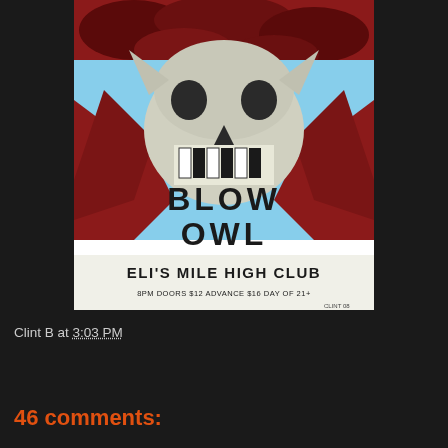[Figure (illustration): Concert poster for a show at Eli's Mile High Club featuring a skull/monster illustration with red rocky background and blue sky. Text reads: BLOW OWL, ELI'S MILE HIGH CLUB, 8PM DOORS $12 ADVANCE $16 DAY OF 21+. Signed CLINT 08.]
Clint B at 3:03 PM
Share
46 comments: